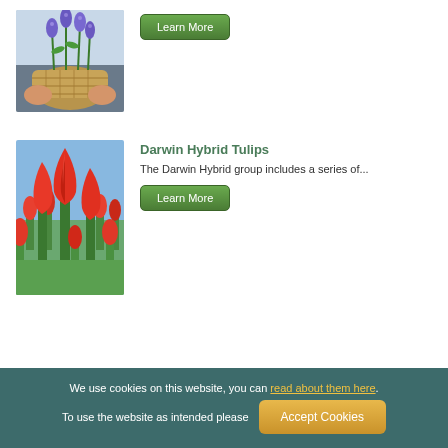[Figure (photo): Person holding a wicker basket filled with blue/purple grape hyacinth (muscari) flowers]
Learn More
[Figure (photo): Field of red/orange Darwin Hybrid Tulips against a blue sky]
Darwin Hybrid Tulips
The Darwin Hybrid group includes a series of...
Learn More
We use cookies on this website, you can read about them here. To use the website as intended please  Accept Cookies